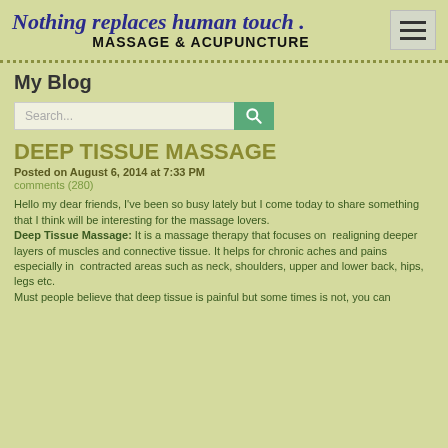Nothing replaces human touch . MASSAGE & ACUPUNCTURE
My Blog
[Figure (screenshot): Search bar with text input and teal search button with magnifying glass icon]
DEEP TISSUE MASSAGE
Posted on August 6, 2014 at 7:33 PM
comments (280)
Hello my dear friends, I've been so busy lately but I come today to share something that I think will be interesting for the massage lovers. Deep Tissue Massage: It is a massage therapy that focuses on realigning deeper layers of muscles and connective tissue. It helps for chronic aches and pains especially in contracted areas such as neck, shoulders, upper and lower back, hips, legs etc. Must people believe that deep tissue is painful but some times is not, you can